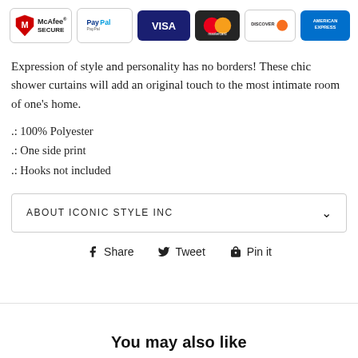[Figure (logo): Payment security badges row: McAfee SECURE, PayPal, Visa, Mastercard, Discover, American Express]
Expression of style and personality has no borders! These chic shower curtains will add an original touch to the most intimate room of one's home.
.: 100% Polyester
.: One side print
.: Hooks not included
ABOUT ICONIC STYLE INC
Share  Tweet  Pin it
You may also like